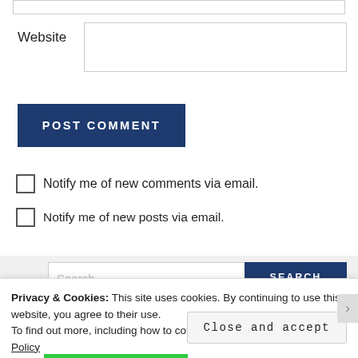Website
POST COMMENT
Notify me of new comments via email.
Notify me of new posts via email.
Search
Privacy & Cookies: This site uses cookies. By continuing to use this website, you agree to their use. To find out more, including how to control cookies, see here: Cookie Policy
Close and accept